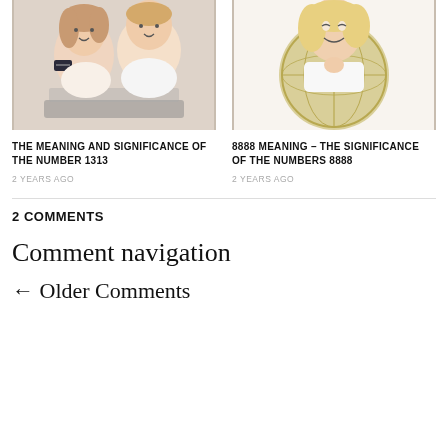[Figure (photo): Young couple lying down with a credit card, using a laptop]
[Figure (photo): Smiling woman holding a large compass or globe with closed eyes]
THE MEANING AND SIGNIFICANCE OF THE NUMBER 1313
2 YEARS AGO
8888 MEANING – THE SIGNIFICANCE OF THE NUMBERS 8888
2 YEARS AGO
2 COMMENTS
Comment navigation
← Older Comments